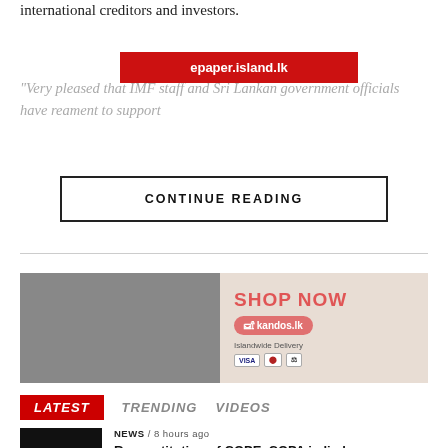international creditors and investors.
[Figure (other): Red banner overlay with text epaper.island.lk]
“Very pleased that IMF staff and Sri Lankan government officials have rea... ment to support
CONTINUE READING
[Figure (other): Advertisement banner for kandos.lk showing chocolate products with SHOP NOW text, kandos.lk button, Islandwide Delivery, VISA, Mastercard payment icons]
LATEST   TRENDING   VIDEOS
NEWS / 8 hours ago
Reconstitution of COPE, COPA in limbo